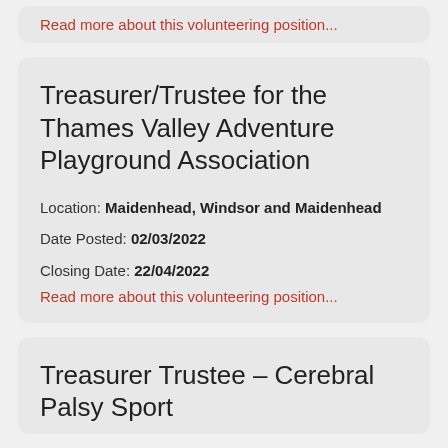Read more about this volunteering position...
Treasurer/Trustee for the Thames Valley Adventure Playground Association
Location: Maidenhead, Windsor and Maidenhead
Date Posted: 02/03/2022
Closing Date: 22/04/2022
Read more about this volunteering position...
Treasurer Trustee – Cerebral Palsy Sport